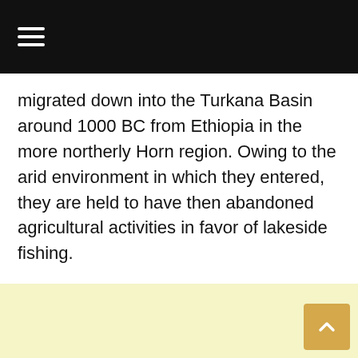≡
migrated down into the Turkana Basin around 1000 BC from Ethiopia in the more northerly Horn region. Owing to the arid environment in which they entered, they are held to have then abandoned agricultural activities in favor of lakeside fishing.